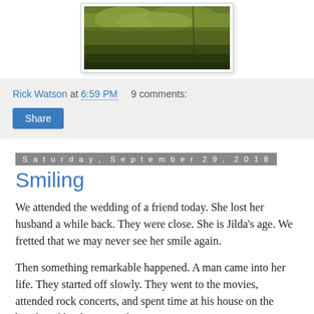[Figure (photo): A nature photo showing green grass and ground vegetation with earth tones, displayed in a white-bordered frame with slight shadow.]
Rick Watson at 6:59 PM   9 comments:
Share
Saturday, September 29, 2018
Smiling
We attended the wedding of a friend today. She lost her husband a while back. They were close. She is Jilda's age. We fretted that we may never see her smile again.
Then something remarkable happened. A man came into her life. They started off slowly. They went to the movies, attended rock concerts, and spent time at his house on the beach and her house on the river.